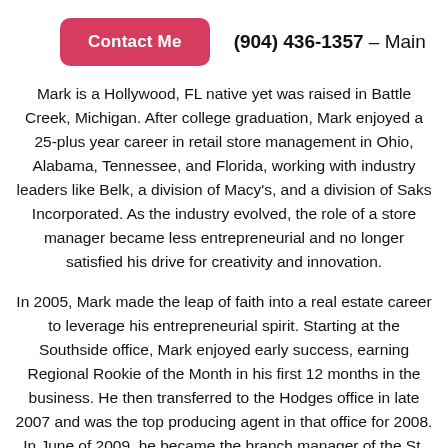(904) 436-1357 – Main
Contact Me
Mark is a Hollywood, FL native yet was raised in Battle Creek, Michigan. After college graduation, Mark enjoyed a 25-plus year career in retail store management in Ohio, Alabama, Tennessee, and Florida, working with industry leaders like Belk, a division of Macy's, and a division of Saks Incorporated. As the industry evolved, the role of a store manager became less entrepreneurial and no longer satisfied his drive for creativity and innovation.
In 2005, Mark made the leap of faith into a real estate career to leverage his entrepreneurial spirit. Starting at the Southside office, Mark enjoyed early success, earning Regional Rookie of the Month in his first 12 months in the business. He then transferred to the Hodges office in late 2007 and was the top producing agent in that office for 2008. In June of 2009, he became the branch manager of the St. Johns office and obtained his Brokers license two months later, earning the title